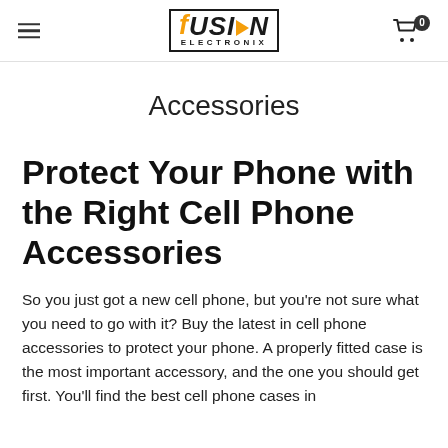fUSION ELECTRONIX — navigation header with hamburger menu, logo, and cart icon (0 items)
Accessories
Protect Your Phone with the Right Cell Phone Accessories
So you just got a new cell phone, but you're not sure what you need to go with it? Buy the latest in cell phone accessories to protect your phone. A properly fitted case is the most important accessory, and the one you should get first. You'll find the best cell phone cases in